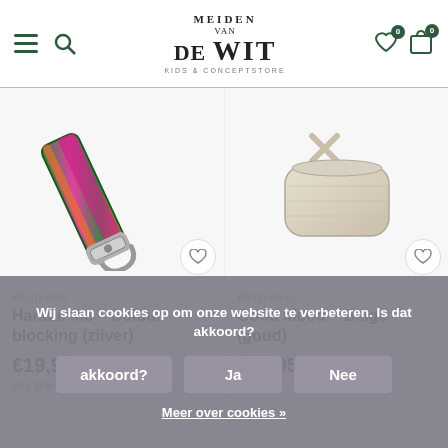Meiden van de Wit – Kids & Conceptstore
[Figure (photo): Colourful green and pink bag strap with silver clasp (Handle me - Colour blocking zilver)]
Baggyshop
Handle me – Colour blocking (zilver)
€19,95
Incl. btw
[Figure (photo): Beige crossbody bag (Good Mood - Beige goud)]
Baggyshop
Good Mood – Beige (goud)
€44,95
Incl. btw
Wij slaan cookies op om onze website te verbeteren. Is dat akkoord?
Ja
Nee
Meer over cookies »